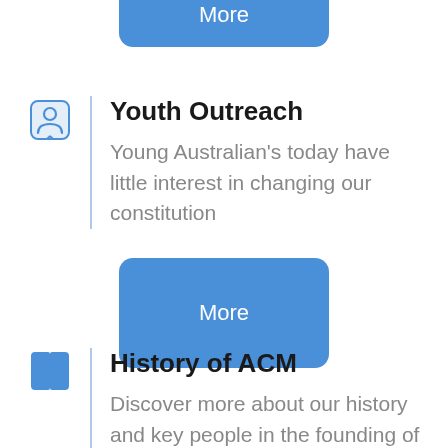[Figure (other): Partial blue 'More' button visible at the top of the page]
Youth Outreach
Young Australian's today have little interest in changing our constitution
[Figure (other): Blue rounded rectangle 'More' button]
History of ACM
Discover more about our history and key people in the founding of ACM